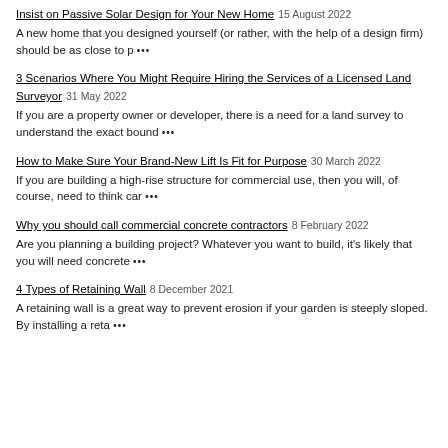Insist on Passive Solar Design for Your New Home 15 August 2022
A new home that you designed yourself (or rather, with the help of a design firm) should be as close to p •••
3 Scenarios Where You Might Require Hiring the Services of a Licensed Land Surveyor 31 May 2022
If you are a property owner or developer, there is a need for a land survey to understand the exact bound •••
How to Make Sure Your Brand-New Lift Is Fit for Purpose 30 March 2022
If you are building a high-rise structure for commercial use, then you will, of course, need to think car •••
Why you should call commercial concrete contractors 8 February 2022
Are you planning a building project? Whatever you want to build, it's likely that you will need concrete •••
4 Types of Retaining Wall 8 December 2021
A retaining wall is a great way to prevent erosion if your garden is steeply sloped. By installing a reta •••